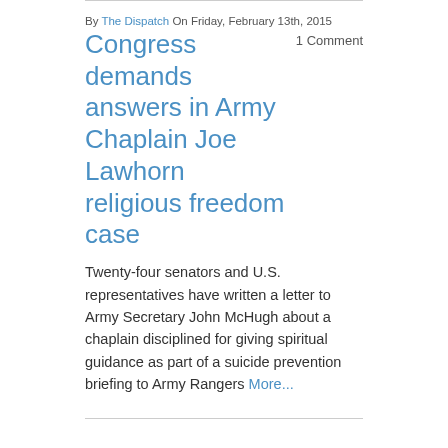By The Dispatch On Friday, February 13th, 2015
Congress demands answers in Army Chaplain Joe Lawhorn religious freedom case
1 Comment
Twenty-four senators and U.S. representatives have written a letter to Army Secretary John McHugh about a chaplain disciplined for giving spiritual guidance as part of a suicide prevention briefing to Army Rangers More...